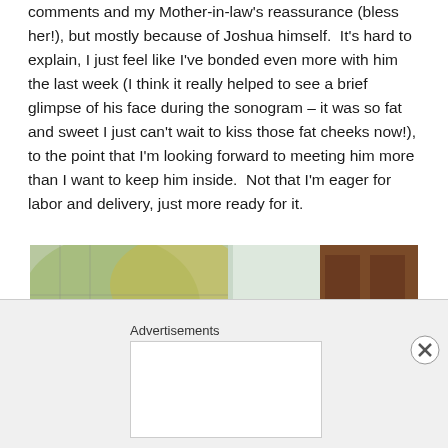comments and my Mother-in-law's reassurance (bless her!), but mostly because of Joshua himself.  It's hard to explain, I just feel like I've bonded even more with him the last week (I think it really helped to see a brief glimpse of his face during the sonogram – it was so fat and sweet I just can't wait to kiss those fat cheeks now!), to the point that I'm looking forward to meeting him more than I want to keep him inside.  Not that I'm eager for labor and delivery, just more ready for it.
[Figure (photo): A woman with long brown hair photographed outdoors, with a chain-link fence, autumn foliage, and a brown wooden door/shutter visible in the background.]
Advertisements